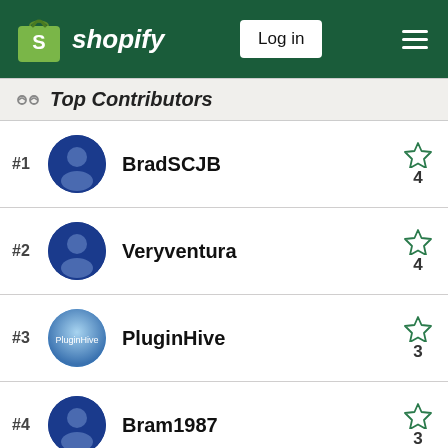Shopify — Log in
Top Contributors
#1 BradSCJB — 4 stars
#2 Veryventura — 4 stars
#3 PluginHive — 3 stars
#4 Bram1987 — 3 stars
#5 LifelinePatSupp...